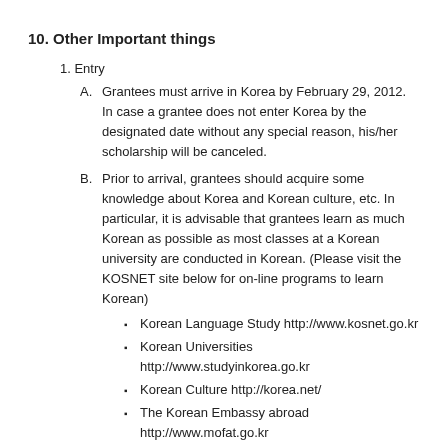10. Other Important things
1. Entry
A. Grantees must arrive in Korea by February 29, 2012. In case a grantee does not enter Korea by the designated date without any special reason, his/her scholarship will be canceled.
B. Prior to arrival, grantees should acquire some knowledge about Korea and Korean culture, etc. In particular, it is advisable that grantees learn as much Korean as possible as most classes at a Korean university are conducted in Korean. (Please visit the KOSNET site below for on-line programs to learn Korean)
Korean Language Study http://www.kosnet.go.kr
Korean Universities http://www.studyinkorea.go.kr
Korean Culture http://korea.net/
The Korean Embassy abroad http://www.mofat.go.kr